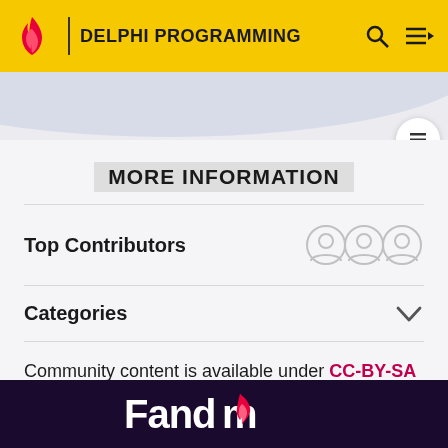DELPHI PROGRAMMING
MORE INFORMATION
Top Contributors
Categories
Community content is available under CC-BY-SA unless otherwise noted.
[Figure (logo): Fandom logo in white on dark purple background]